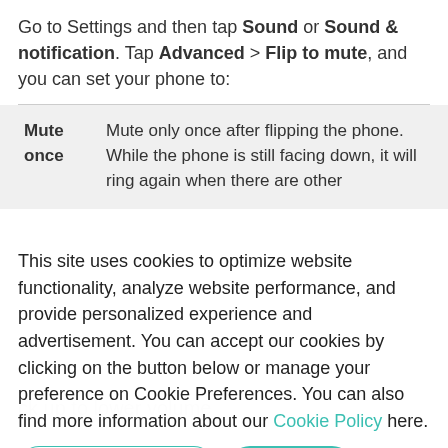Go to Settings and then tap Sound or Sound & notification. Tap Advanced > Flip to mute, and you can set your phone to:
| Mute once | Mute only once after flipping the phone. While the phone is still facing down, it will ring again when there are other |
This site uses cookies to optimize website functionality, analyze website performance, and provide personalized experience and advertisement. You can accept our cookies by clicking on the button below or manage your preference on Cookie Preferences. You can also find more information about our Cookie Policy here.
Cookie preferences | Accept